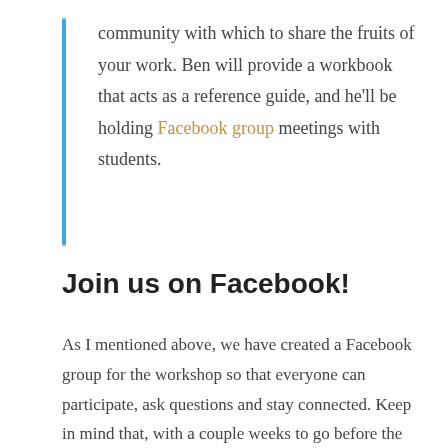community with which to share the fruits of your work. Ben will provide a workbook that acts as a reference guide, and he'll be holding Facebook group meetings with students.
Join us on Facebook!
As I mentioned above, we have created a Facebook group for the workshop so that everyone can participate, ask questions and stay connected. Keep in mind that, with a couple weeks to go before the course starts, you can still influence what I cover by posting what's important to you and what you want to learn. I'm going to take everyone's suggestions very seriously and make sure I cover exactly what you want to learn.